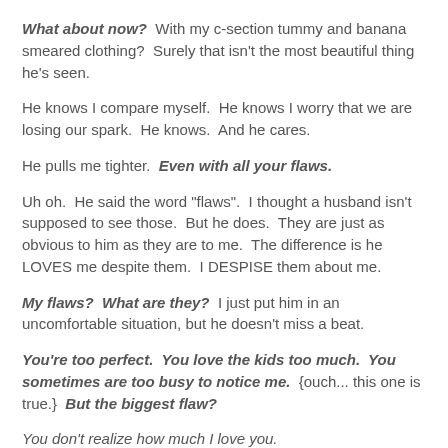What about now?  With my c-section tummy and banana smeared clothing?  Surely that isn't the most beautiful thing he's seen.
He knows I compare myself.  He knows I worry that we are losing our spark.  He knows.  And he cares.
He pulls me tighter.  Even with all your flaws.
Uh oh.  He said the word "flaws".  I thought a husband isn't supposed to see those.  But he does.  They are just as obvious to him as they are to me.  The difference is he LOVES me despite them.  I DESPISE them about me.
My flaws?  What are they?  I just put him in an uncomfortable situation, but he doesn't miss a beat.
You're too perfect.  You love the kids too much.  You sometimes are too busy to notice me.  {ouch... this one is true.}  But the biggest flaw?
You don't realize how much I love you.